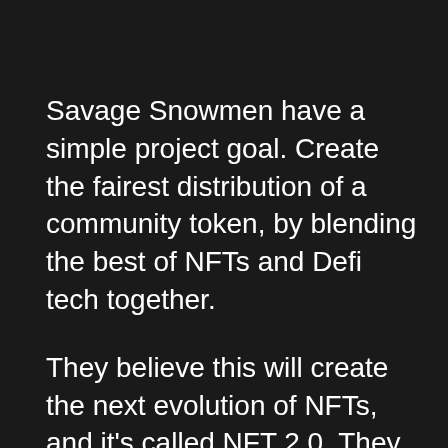Savage Snowmen have a simple project goal. Create the fairest distribution of a community token, by blending the best of NFTs and Defi tech together.
They believe this will create the next evolution of NFTs, and it's called NFT 2.0. They certainly have some interesting ideas and concepts that we think will help them stand out in this rapidly evolving space.
Initially, there will be 10,000 unique Snowmen NFTs minted, and these will draw